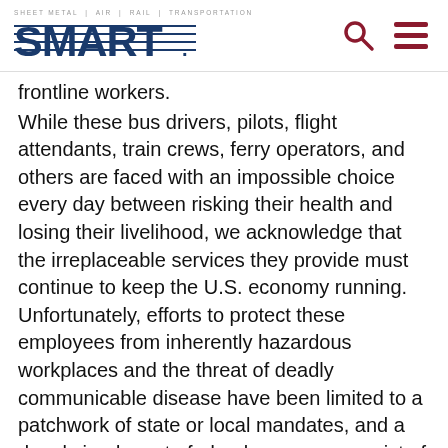SMART — Sheet Metal | Air | Rail | Transportation
frontline workers.
While these bus drivers, pilots, flight attendants, train crews, ferry operators, and others are faced with an impossible choice every day between risking their health and losing their livelihood, we acknowledge that the irreplaceable services they provide must continue to keep the U.S. economy running. Unfortunately, efforts to protect these employees from inherently hazardous workplaces and the threat of deadly communicable disease have been limited to a patchwork of state or local mandates, and a deeply inadequate federal response consist of non-mandatory guidance.
Those limited mandates from non-federal